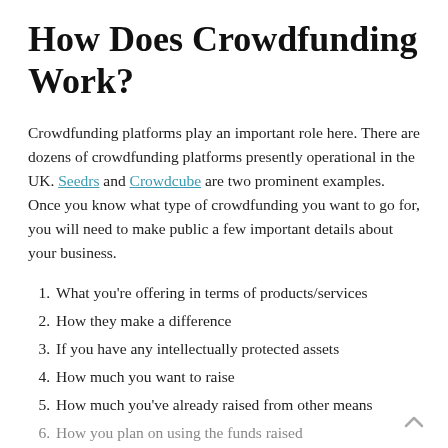How Does Crowdfunding Work?
Crowdfunding platforms play an important role here. There are dozens of crowdfunding platforms presently operational in the UK. Seedrs and Crowdcube are two prominent examples. Once you know what type of crowdfunding you want to go for, you will need to make public a few important details about your business.
1. What you're offering in terms of products/services
2. How they make a difference
3. If you have any intellectually protected assets
4. How much you want to raise
5. How much you've already raised from other means
6. How you plan on using the funds raised